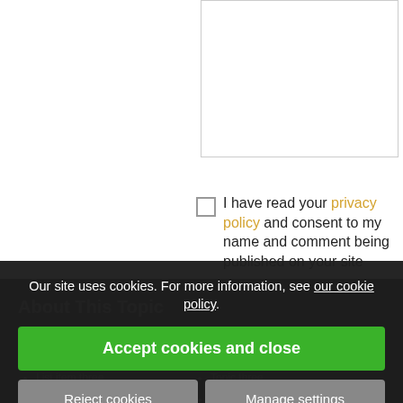[textarea input field]
I have read your privacy policy and consent to my name and comment being published on your site
SUBMIT
Our site uses cookies. For more information, see our cookie policy.
Accept cookies and close
Reject cookies
Manage settings